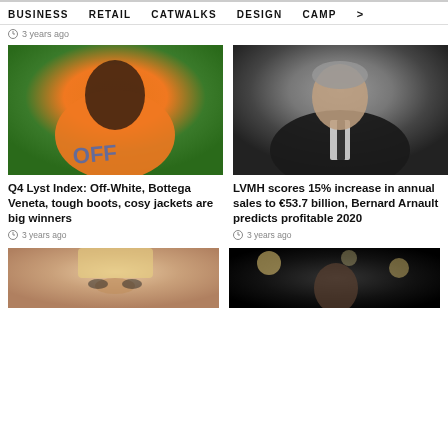BUSINESS   RETAIL   CATWALKS   DESIGN   CAMP >
3 years ago
[Figure (photo): Black male model wearing orange Off-White graphic t-shirt]
Q4 Lyst Index: Off-White, Bottega Veneta, tough boots, cosy jackets are big winners
3 years ago
[Figure (photo): Bernard Arnault in dark suit and tie, grey hair, formal portrait]
LVMH scores 15% increase in annual sales to €53.7 billion, Bernard Arnault predicts profitable 2020
3 years ago
[Figure (photo): Blonde woman close-up portrait with dramatic eye makeup]
[Figure (photo): Man with dark background and bokeh lights behind him]